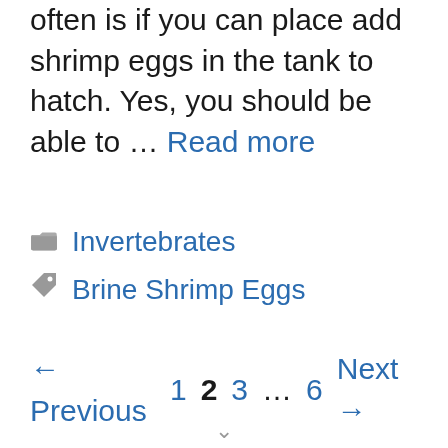often is if you can place add shrimp eggs in the tank to hatch. Yes, you should be able to … Read more
Invertebrates
Brine Shrimp Eggs
← Previous 1 2 3 … 6 Next →